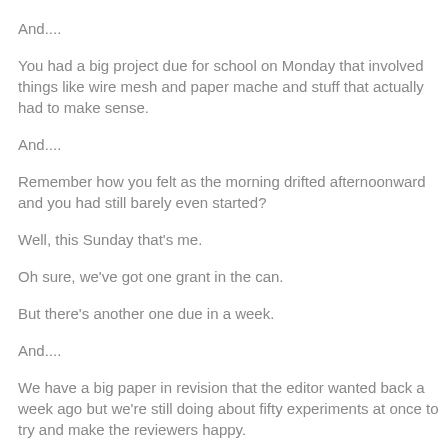And....
You had a big project due for school on Monday that involved things like wire mesh and paper mache and stuff that actually had to make sense.
And....
Remember how you felt as the morning drifted afternoonward and you had still barely even started?
Well, this Sunday that's me.
Oh sure, we've got one grant in the can.
But there's another one due in a week.
And....
We have a big paper in revision that the editor wanted back a week ago but we're still doing about fifty experiments at once to try and make the reviewers happy.